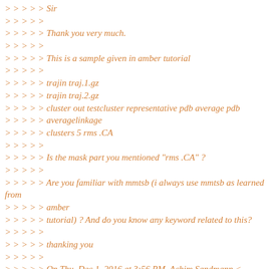> > > > > Sir
> > > > >
> > > > > Thank you very much.
> > > > >
> > > > > This is a sample given in amber tutorial
> > > > >
> > > > > trajin traj.1.gz
> > > > > trajin traj.2.gz
> > > > > cluster out testcluster representative pdb average pdb
> > > > > averagelinkage
> > > > > clusters 5 rms .CA
> > > > >
> > > > > Is the mask part you mentioned "rms .CA" ?
> > > > >
> > > > > Are you familiar with mmtsb (i always use mmtsb as learned from
> > > > > amber
> > > > > tutorial) ? And do you know any keyword related to this?
> > > > >
> > > > > thanking you
> > > > >
> > > > > On Thu, Dec 1, 2016 at 3:56 PM, Achim Sandmann <
> > > > > > Achim.Sandmann.chemie.stud.uni-erlangen.de>
wrote: